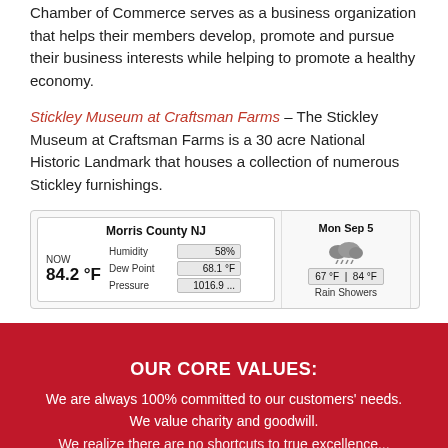Chamber of Commerce serves as a business organization that helps their members develop, promote and pursue their business interests while helping to promote a healthy economy.
Stickley Museum at Craftsman Farms – The Stickley Museum at Craftsman Farms is a 30 acre National Historic Landmark that houses a collection of numerous Stickley furnishings.
[Figure (screenshot): Weather widget showing Morris County NJ current conditions: 84.2°F, Humidity 58%, Dew Point 68.1°F, Pressure 1016.9...; Mon Sep 5 Rain Showers 67°F|84°F; Tue Sep 6 Rain Showers 62°F|71°F]
OUR CORE VALUES:
We are always 100% committed to our customers' needs. We value charity and goodwill.
We realize there are no shortcuts to true excellence...